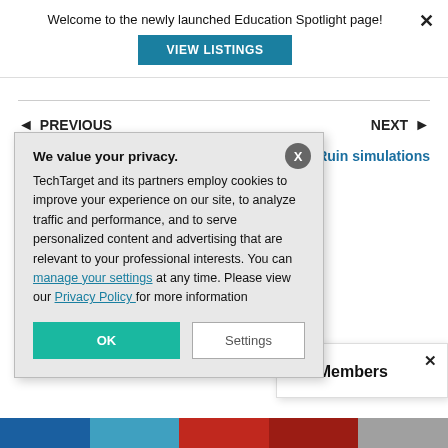Welcome to the newly launched Education Spotlight page!
VIEW LISTINGS
◄ PREVIOUS
NEXT ►
s Ruin simulations
We value your privacy. TechTarget and its partners employ cookies to improve your experience on our site, to analyze traffic and performance, and to serve personalized content and advertising that are relevant to your professional interests. You can manage your settings at any time. Please view our Privacy Policy for more information
OK
Settings
SC Members